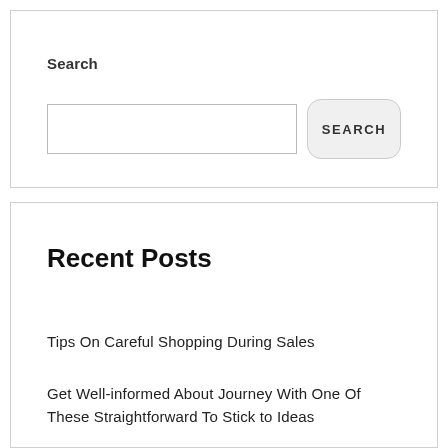Search
[Figure (other): Search input field with a SEARCH button]
Recent Posts
Tips On Careful Shopping During Sales
Get Well-informed About Journey With One Of These Straightforward To Stick to Ideas